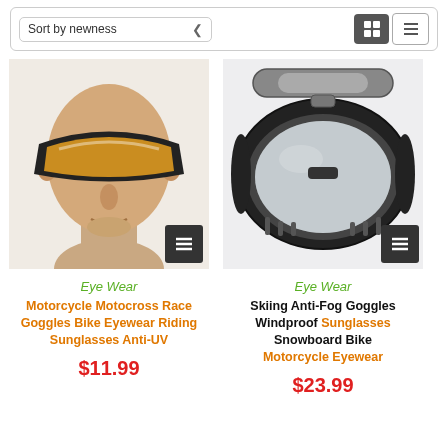[Figure (screenshot): Sort by newness dropdown and grid/list view toggle buttons toolbar]
[Figure (photo): Mannequin head wearing orange-tinted motorcycle goggles]
Eye Wear
Motorcycle Motocross Race Goggles Bike Eyewear Riding Sunglasses Anti-UV
$11.99
[Figure (photo): Black motorcycle/ski goggles with clear lens, top view showing strap]
Eye Wear
Skiing Anti-Fog Goggles Windproof Sunglasses Snowboard Bike Motorcycle Eyewear
$23.99